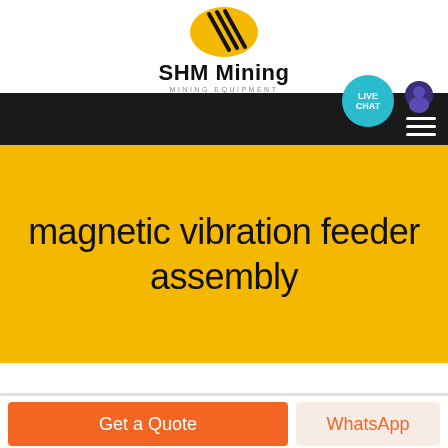[Figure (logo): SHM Mining logo with yellow circle and black diagonal stripes, company name and tagline MINING EQUIPMENT]
SHM Mining MINING EQUIPMENT
[Figure (screenshot): Black navigation bar with LIVE CHAT teal bubble and hamburger menu icon]
magnetic vibration feeder assembly
Get a Quote
WhatsApp